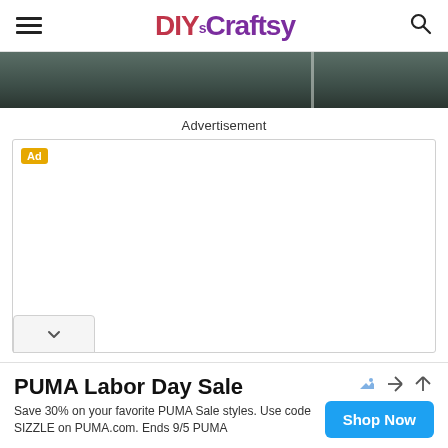DIYsCraftsy
[Figure (photo): Partial hero/banner image showing a dark teal/grey interior scene, partially cropped at top]
Advertisement
[Figure (other): Advertisement box with yellow 'Ad' badge in top-left corner, empty white ad space, and a collapse chevron button at the bottom]
PUMA Labor Day Sale
Save 30% on your favorite PUMA Sale styles. Use code SIZZLE on PUMA.com. Ends 9/5 PUMA